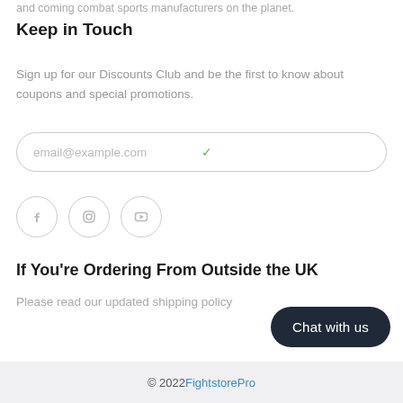and coming combat sports manufacturers on the planet.
Keep in Touch
Sign up for our Discounts Club and be the first to know about coupons and special promotions.
email@example.com
[Figure (infographic): Three social media icon circles: Facebook, Instagram, YouTube]
If You're Ordering From Outside the UK
Please read our updated shipping policy
Chat with us
© 2022 FightstorePro